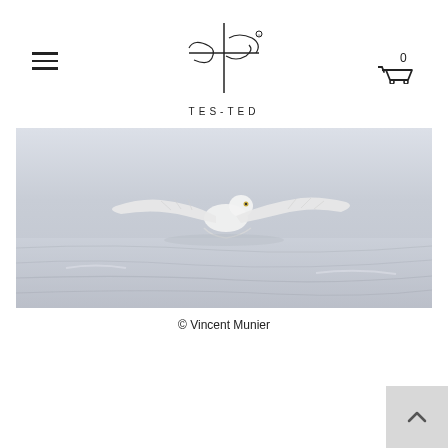[Figure (logo): TES-TED brand logo with stylized handwritten signature above the text TES-TED in spaced capitals]
[Figure (photo): A white snowy owl in flight low over a snow-covered landscape, wings spread wide, photographed by Vincent Munier]
© Vincent Munier